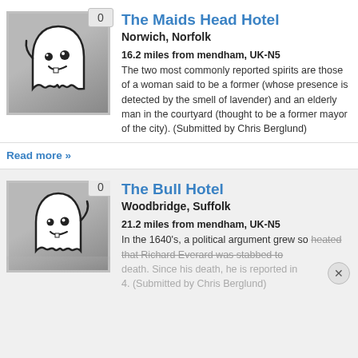[Figure (illustration): Ghost cartoon icon on grey background with badge showing 0]
The Maids Head Hotel
Norwich, Norfolk
16.2 miles from mendham, UK-N5
The two most commonly reported spirits are those of a woman said to be a former (whose presence is detected by the smell of lavender) and an elderly man in the courtyard (thought to be a former mayor of the city). (Submitted by Chris Berglund)
Read more »
[Figure (illustration): Ghost cartoon icon on grey background with badge showing 0]
The Bull Hotel
Woodbridge, Suffolk
21.2 miles from mendham, UK-N5
In the 1640's, a political argument grew so heated that Richard Everard was stabbed to death. Since his death, he is reported in… 4. (Submitted by Chris Berglund)